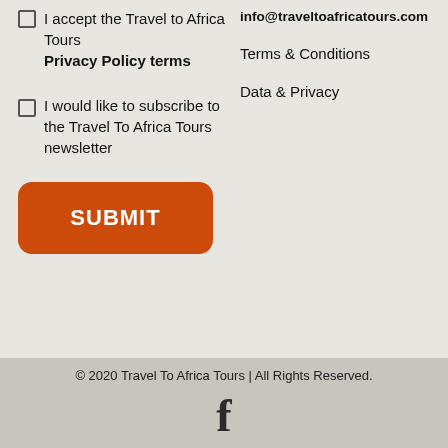I accept the Travel to Africa Tours Privacy Policy terms
I would like to subscribe to the Travel To Africa Tours newsletter
[Figure (other): Orange rounded SUBMIT button]
info@traveltoafricatours.com
Terms & Conditions
Data & Privacy
© 2020 Travel To Africa Tours | All Rights Reserved.